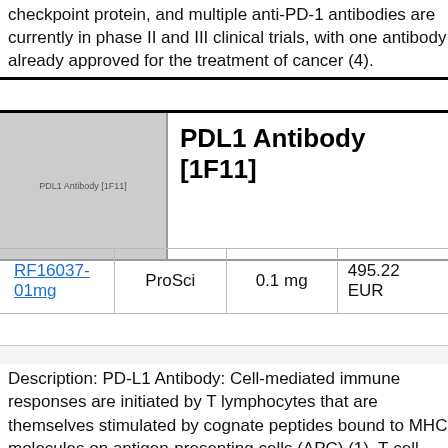checkpoint protein, and multiple anti-PD-1 antibodies are currently in phase II and III clinical trials, with one antibody already approved for the treatment of cancer (4).
PDL1 Antibody [1F11]
[Figure (photo): Product image placeholder showing 'PDL1 Antibody [1F11]' text label on grey background]
| Catalog | Supplier | Size | Price |
| --- | --- | --- | --- |
| RF16037-01mg | ProSci | 0.1 mg | 495.22 EUR |
Description: PD-L1 Antibody: Cell-mediated immune responses are initiated by T lymphocytes that are themselves stimulated by cognate peptides bound to MHC molecules on antigen-presenting cells (APC) (1). T-cell activation is generally self-limited as activated T cells express